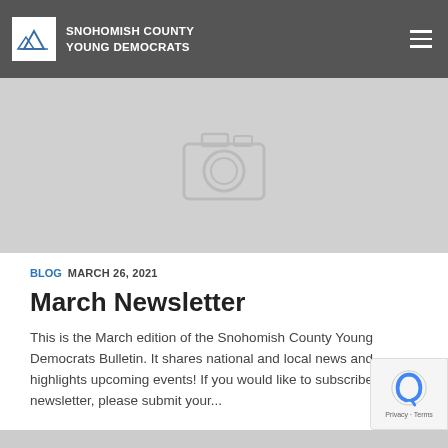SNOHOMISH COUNTY YOUNG DEMOCRATS
[Figure (photo): Hero image placeholder with camera icon on grey background]
BLOG  MARCH 26, 2021
March Newsletter
This is the March edition of the Snohomish County Young Democrats Bulletin. It shares national and local news and highlights upcoming events! If you would like to subscribe to our newsletter, please submit your...